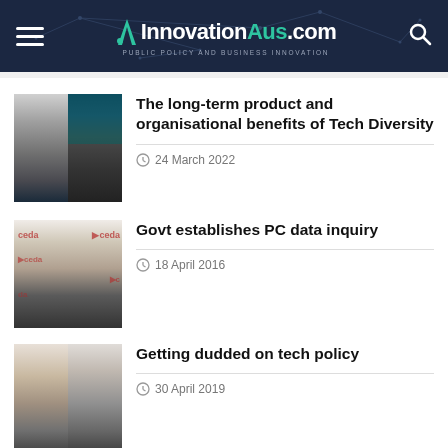InnovationAus.com — PUBLIC POLICY AND BUSINESS INNOVATION
[Figure (photo): Two people in black and white portrait photos against dark teal background]
The long-term product and organisational benefits of Tech Diversity
24 March 2022
[Figure (photo): Man in suit with CEDA event background]
Govt establishes PC data inquiry
18 April 2016
[Figure (photo): Two men in portrait photos side by side]
Getting dudded on tech policy
30 April 2019